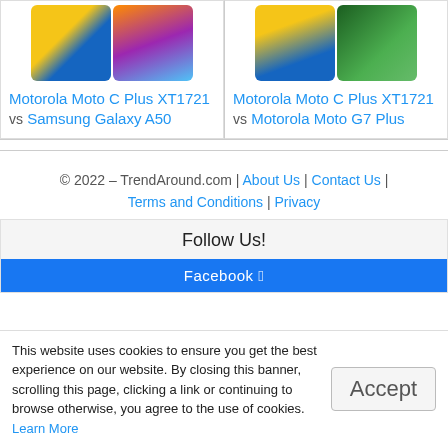[Figure (screenshot): Two smartphone comparison cards side by side. Left card shows two phones (Motorola Moto C Plus XT1721 vs Samsung Galaxy A50). Right card shows two phones (Motorola Moto C Plus XT1721 vs Motorola Moto G7 Plus).]
Motorola Moto C Plus XT1721 vs Samsung Galaxy A50
Motorola Moto C Plus XT1721 vs Motorola Moto G7 Plus
© 2022 – TrendAround.com | About Us | Contact Us | Terms and Conditions | Privacy
Follow Us!
Facebook
This website uses cookies to ensure you get the best experience on our website. By closing this banner, scrolling this page, clicking a link or continuing to browse otherwise, you agree to the use of cookies. Learn More